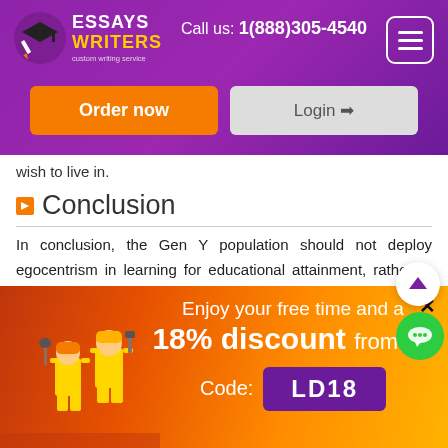ESSAYS WRITERS custom writing service — Call us: 1(888)305-4540
wish to live in.
Conclusion
In conclusion, the Gen Y population should not deploy egocentrism in learning for educational attainment, rather to influence their social responsibility. Additionally, the current students should ensure that premature
[Figure (infographic): Promotional banner with construction workers illustration, offering 18% discount with code LD18. Text: Enjoy your free time and a 18% discount from us! Code: LD18]